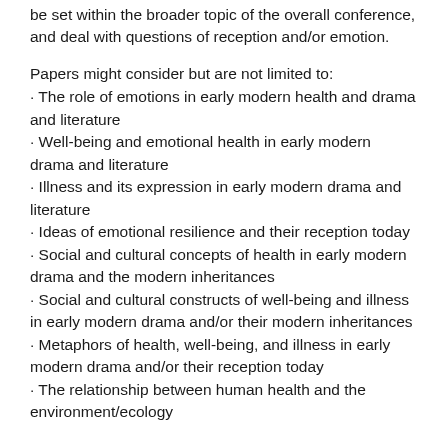be set within the broader topic of the overall conference, and deal with questions of reception and/or emotion.
Papers might consider but are not limited to:
· The role of emotions in early modern health and drama and literature
· Well-being and emotional health in early modern drama and literature
· Illness and its expression in early modern drama and literature
· Ideas of emotional resilience and their reception today
· Social and cultural concepts of health in early modern drama and the modern inheritances
· Social and cultural constructs of well-being and illness in early modern drama and/or their modern inheritances
· Metaphors of health, well-being, and illness in early modern drama and/or their reception today
· The relationship between human health and the environment/ecology